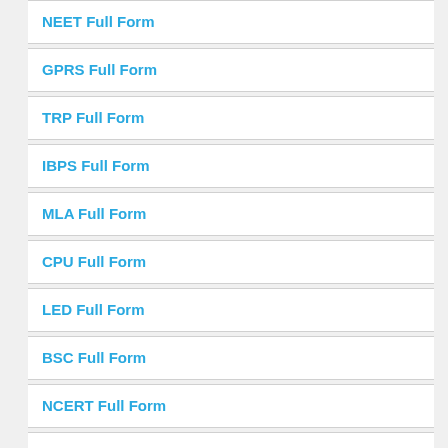NEET Full Form
GPRS Full Form
TRP Full Form
IBPS Full Form
MLA Full Form
CPU Full Form
LED Full Form
BSC Full Form
NCERT Full Form
PDA Full Form
BSC Full Form